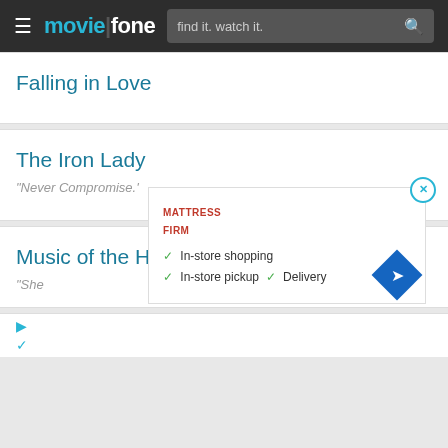moviefone — find it. watch it.
Falling in Love
The Iron Lady
"Never Compromise.'
Music of the Heart
"She
[Figure (infographic): Mattress Firm advertisement overlay showing: In-store shopping, In-store pickup, Delivery with checkmarks, and a blue navigation arrow icon. Close button (X) in top right.]